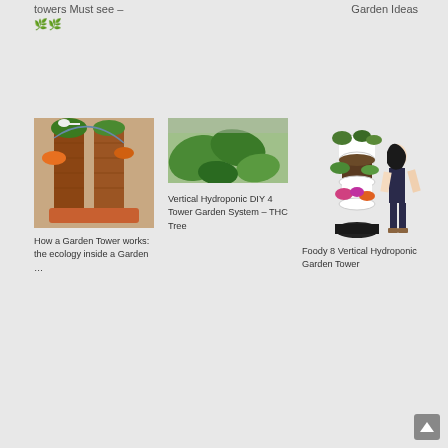towers Must see – 🌿🌿
Garden Ideas
[Figure (photo): Garden tower with plants growing vertically on brick-like structure]
How a Garden Tower works: the ecology inside a Garden …
[Figure (photo): Close-up of green leafy plants, hydroponic garden]
Vertical Hydroponic DIY 4 Tower Garden System – THC Tree
[Figure (photo): Woman standing next to white vertical hydroponic garden tower with plants]
Foody 8 Vertical Hydroponic Garden Tower